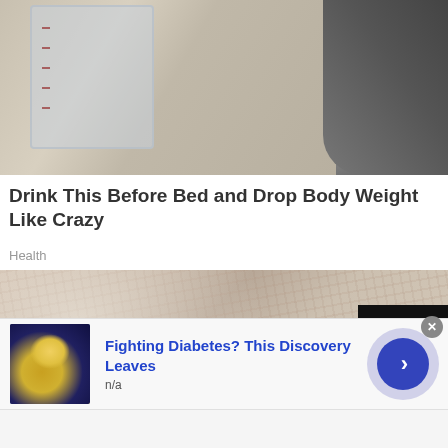[Figure (photo): Photo of a glass measuring cup with red measurement markings, placed on a wooden surface, with a dark furry object partially visible on the right side]
Drink This Before Bed and Drop Body Weight Like Crazy
Health
[Figure (photo): Close-up macro photo of human skin showing pores and texture details, with a dark badge overlay showing the number 0]
[Figure (photo): Advertisement thumbnail showing food in a bowl (yellow/golden food on a dark blue plate)]
Fighting Diabetes? This Discovery Leaves
n/a